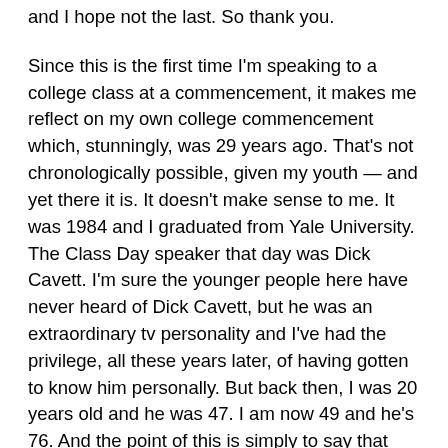and I hope not the last. So thank you.
Since this is the first time I'm speaking to a college class at a commencement, it makes me reflect on my own college commencement which, stunningly, was 29 years ago. That's not chronologically possible, given my youth — and yet there it is. It doesn't make sense to me. It was 1984 and I graduated from Yale University. The Class Day speaker that day was Dick Cavett. I'm sure the younger people here have never heard of Dick Cavett, but he was an extraordinary tv personality and I've had the privilege, all these years later, of having gotten to know him personally. But back then, I was 20 years old and he was 47. I am now 49 and he's 76. And the point of this is simply to say that time flies. You will hear that over and over again in your lives. You will yourselves get old, and you will yourselves say that, too. It is a fact of